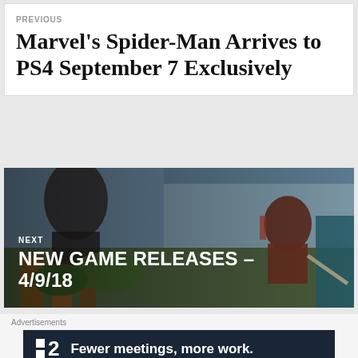PREVIOUS
Marvel's Spider-Man Arrives to PS4 September 7 Exclusively
[Figure (photo): Action game screenshot with armored character swinging/leaping over a colorful fantasy cityscape with giant figures in background. White text overlay reads NEXT / NEW GAME RELEASES – 4/9/18]
[Figure (other): Close (X) button circle icon]
Advertisements
[Figure (other): Advertisement banner: dark navy background, small white square logo with '2' and text 'Fewer meetings, more work.']